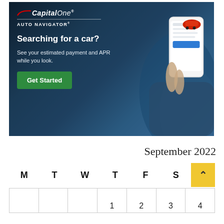[Figure (advertisement): Capital One Auto Navigator advertisement. Dark blue background with person holding a smartphone showing car financing app. Text: 'Capital One AUTO NAVIGATOR — Searching for a car? See your estimated payment and APR while you look.' Green button: 'Get Started'.]
September 2022
| M | T | W | T | F | S | S |
| --- | --- | --- | --- | --- | --- | --- |
|  |  |  | 1 | 2 | 3 | 4 |